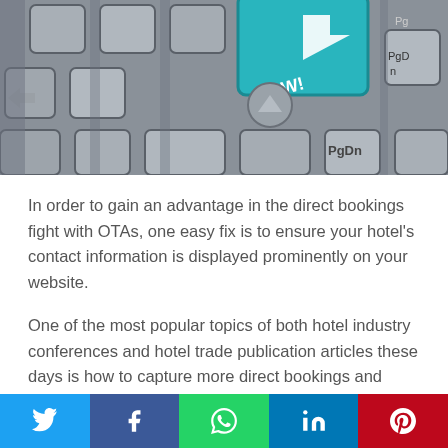[Figure (photo): Close-up photo of a keyboard with a teal/cyan 'Book Now!' key with an arrow, surrounded by standard grey keys including PgDn]
In order to gain an advantage in the direct bookings fight with OTAs, one easy fix is to ensure your hotel's contact information is displayed prominently on your website.
One of the most popular topics of both hotel industry conferences and hotel trade publication articles these days is how to capture more direct bookings and redirect market share from online travel agencies and other third parties in order to reduce the costs of
Twitter | Facebook | WhatsApp | LinkedIn | Pinterest